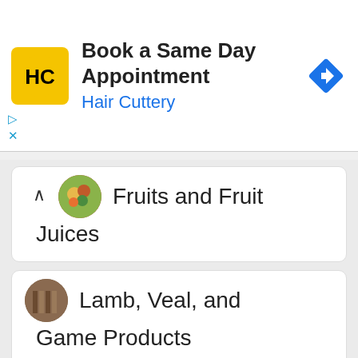[Figure (infographic): Hair Cuttery advertisement banner: yellow logo with HC letters, text 'Book a Same Day Appointment' and 'Hair Cuttery' in blue, blue diamond navigation icon on right]
Fruits and Fruit Juices
Lamb, Veal, and Game Products
Legumes and